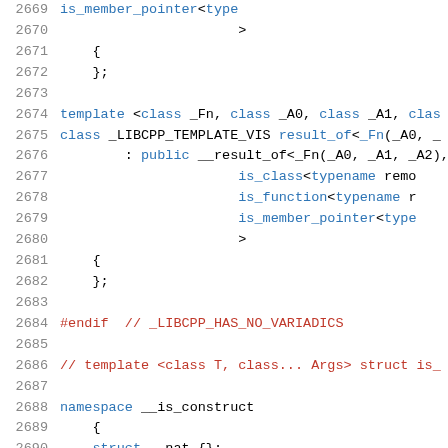Code snippet lines 2669-2690 showing C++ template specializations and namespace declaration
2669    is_member_pointer<type
2670        >
2671    {
2672    };
2673
2674    template <class _Fn, class _A0, class _A1, clas
2675    class _LIBCPP_TEMPLATE_VIS result_of<_Fn(_A0, _
2676        : public __result_of<_Fn(_A0, _A1, _A2),
2677                          is_class<typename remo
2678                          is_function<typename r
2679                          is_member_pointer<type
2680                          >
2681    {
2682    };
2683
2684    #endif  // _LIBCPP_HAS_NO_VARIADICS
2685
2686    // template <class T, class... Args> struct is_
2687
2688    namespace __is_construct
2689    {
2690    struct __nat {};